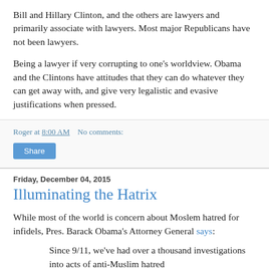Bill and Hillary Clinton, and the others are lawyers and primarily associate with lawyers. Most major Republicans have not been lawyers.
Being a lawyer if very corrupting to one's worldview. Obama and the Clintons have attitudes that they can do whatever they can get away with, and give very legalistic and evasive justifications when pressed.
Roger at 8:00 AM    No comments:
Share
Friday, December 04, 2015
Illuminating the Hatrix
While most of the world is concern about Moslem hatred for infidels, Pres. Barack Obama's Attorney General says:
Since 9/11, we've had over a thousand investigations into acts of anti-Muslim hatred